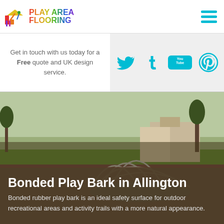[Figure (logo): Play Area Flooring logo with colorful icon of playground and rainbow-gradient text reading PLAY AREA FLOORING]
[Figure (infographic): Hamburger menu icon with three cyan horizontal lines]
Get in touch with us today for a Free quote and UK design service.
[Figure (infographic): Social media icons: Twitter bird, Tumblr t, YouTube logo, Pinterest p — all in cyan/teal color on light grey background]
[Figure (photo): Outdoor playground photo showing bonded rubber play bark surface in dark red/burgundy color with a dome climbing frame structure, grass and buildings in background]
Bonded Play Bark in Allington
Bonded rubber play bark is an ideal safety surface for outdoor recreational areas and activity trails with a more natural appearance.